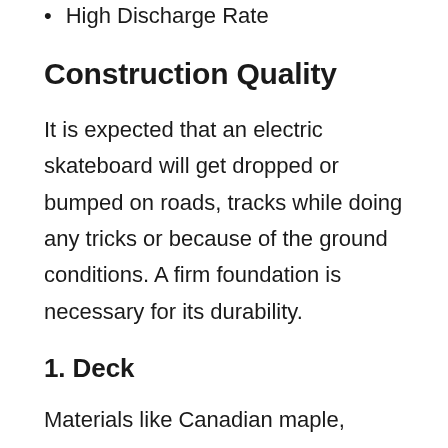High Discharge Rate
Construction Quality
It is expected that an electric skateboard will get dropped or bumped on roads, tracks while doing any tricks or because of the ground conditions. A firm foundation is necessary for its durability.
1. Deck
Materials like Canadian maple, Bamboo, Aluminum, Ceramic, and plastic are available in the best budget electric skateboards